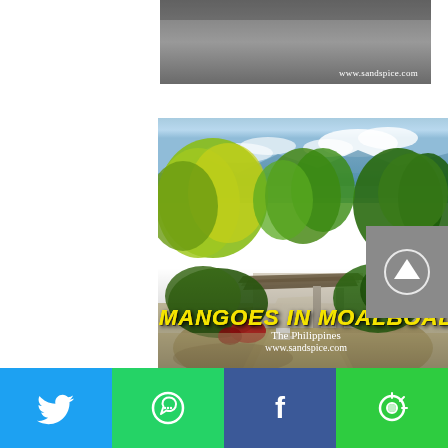[Figure (photo): Top partial image with dark/grey tones and watermark 'www.sandspice.com' in bottom right]
[Figure (photo): Tropical scene with lush trees, small cottage/bungalow structure near beach with ocean and mountains in background. Overlay text: 'MANGOES IN MOALBOAL' in yellow italic, 'The Philippines' and 'www.sandspice.com' in white below.]
[Figure (infographic): Social sharing bar with four buttons: Twitter (blue), WhatsApp (green), Facebook (dark blue), and a camera/share icon (green)]